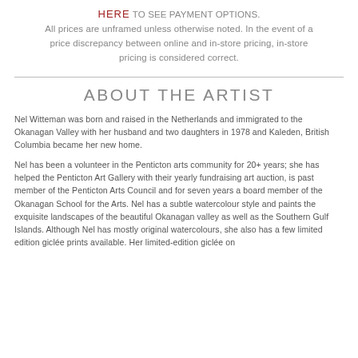HERE TO SEE PAYMENT OPTIONS. All prices are unframed unless otherwise noted. In the event of a price discrepancy between online and in-store pricing, in-store pricing is considered correct.
ABOUT THE ARTIST
Nel Witteman was born and raised in the Netherlands and immigrated to the Okanagan Valley with her husband and two daughters in 1978 and Kaleden, British Columbia became her new home.
Nel has been a volunteer in the Penticton arts community for 20+ years; she has helped the Penticton Art Gallery with their yearly fundraising art auction, is past member of the Penticton Arts Council and for seven years a board member of the Okanagan School for the Arts. Nel has a subtle watercolour style and paints the exquisite landscapes of the beautiful Okanagan valley as well as the Southern Gulf Islands. Although Nel has mostly original watercolours, she also has a few limited edition giclée prints available. Her limited-edition giclée on